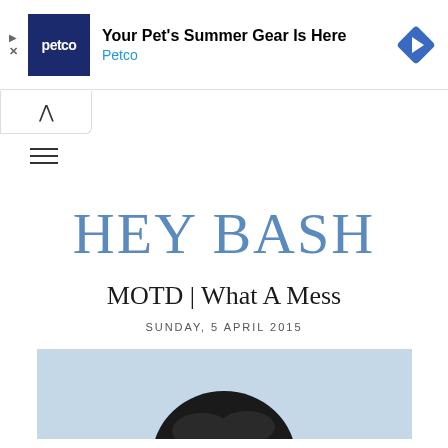[Figure (screenshot): Petco advertisement banner with logo, headline 'Your Pet's Summer Gear Is Here', brand name 'Petco', and a blue diamond navigation icon on the right]
[Figure (other): Collapse/minimize button with upward chevron arrow]
[Figure (other): Hamburger menu icon with three horizontal lines]
HEY BASH
MOTD | What A Mess
SUNDAY, 5 APRIL 2015
[Figure (photo): Partial photo showing the top of a person's head with dark hair against a light blue background]